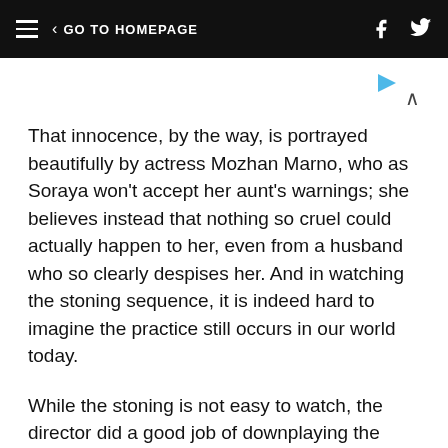GO TO HOMEPAGE
That innocence, by the way, is portrayed beautifully by actress Mozhan Marno, who as Soraya won't accept her aunt's warnings; she believes instead that nothing so cruel could actually happen to her, even from a husband who so clearly despises her. And in watching the stoning sequence, it is indeed hard to imagine the practice still occurs in our world today.
While the stoning is not easy to watch, the director did a good job of downplaying the graphic nature of the scene while still conveying